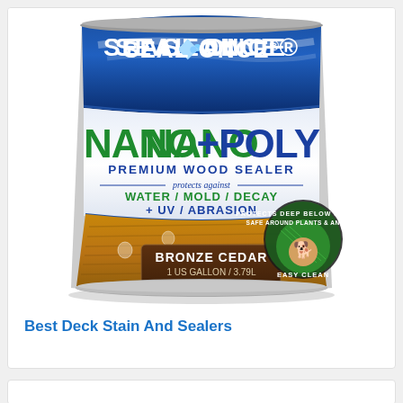[Figure (photo): Product photo of Seal-Once Nano+Poly Premium Wood Sealer can in Bronze Cedar color, 1 US Gallon / 3.79L, Item No. SQ2507. The can features blue and white upper section with the brand name SEAL-ONCE at the top, large green and blue NANO+POLY text, PREMIUM WOOD SEALER subtitle, protects against WATER / MOLD / DECAY + UV / ABRASION text, and a wood-grain lower section showing the product color. A circular badge reads PROTECTS DEEP BELOW SURFACE, SAFE AROUND PLANTS & ANIMALS, EASY CLEAN with a puppy image.]
Best Deck Stain And Sealers